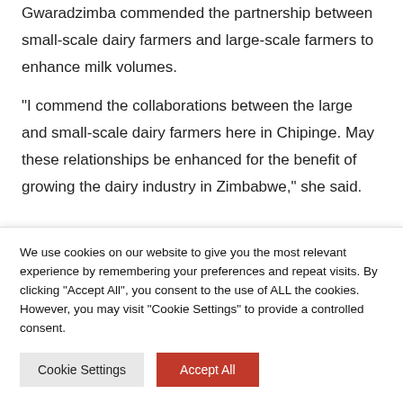Gwaradzimba commended the partnership between small-scale dairy farmers and large-scale farmers to enhance milk volumes.
“I commend the collaborations between the large and small-scale dairy farmers here in Chipinge. May these relationships be enhanced for the benefit of growing the dairy industry in Zimbabwe,” she said.
We use cookies on our website to give you the most relevant experience by remembering your preferences and repeat visits. By clicking “Accept All”, you consent to the use of ALL the cookies. However, you may visit "Cookie Settings" to provide a controlled consent.